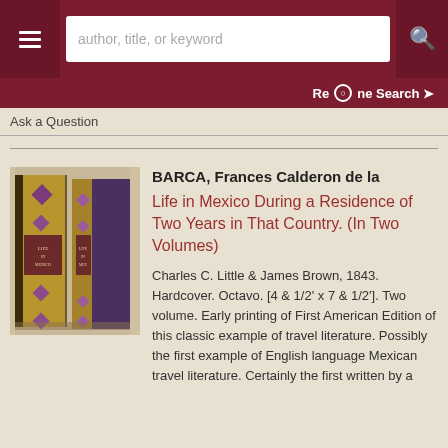author, title, or keyword [search bar]
Refine Search
Ask a Question
[Figure (photo): Two antique hardcover books standing upright, showing ornate spines with decorative marbled and gilded bindings in purple, gold, and green colors]
BARCA, Frances Calderon de la
Life in Mexico During a Residence of Two Years in That Country. (In Two Volumes)
Charles C. Little & James Brown, 1843. Hardcover. Octavo. [4 & 1/2' x 7 & 1/2']. Two volume. Early printing of First American Edition of this classic example of travel literature. Possibly the first example of English language Mexican travel literature. Certainly the first written by a